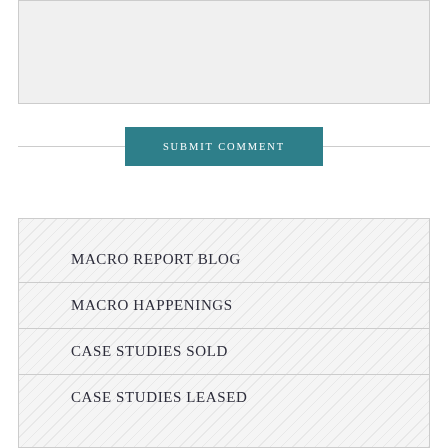[Figure (other): Text input/comment box area, light gray background with border]
SUBMIT COMMENT
MACRO REPORT BLOG
MACRO HAPPENINGS
CASE STUDIES SOLD
CASE STUDIES LEASED